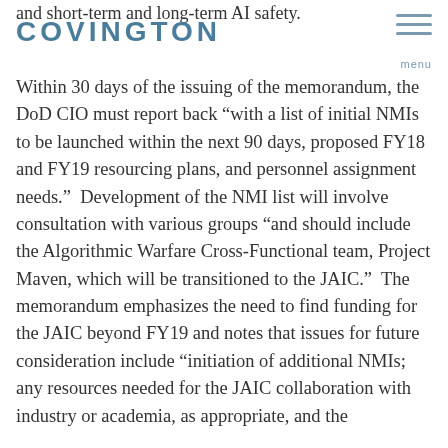and short-term and long-term AI safety.
COVINGTON
Within 30 days of the issuing of the memorandum, the DoD CIO must report back “with a list of initial NMIs to be launched within the next 90 days, proposed FY18 and FY19 resourcing plans, and personnel assignment needs.”  Development of the NMI list will involve consultation with various groups “and should include the Algorithmic Warfare Cross-Functional team, Project Maven, which will be transitioned to the JAIC.”  The memorandum emphasizes the need to find funding for the JAIC beyond FY19 and notes that issues for future consideration include “initiation of additional NMIs; any resources needed for the JAIC collaboration with industry or academia, as appropriate, and the